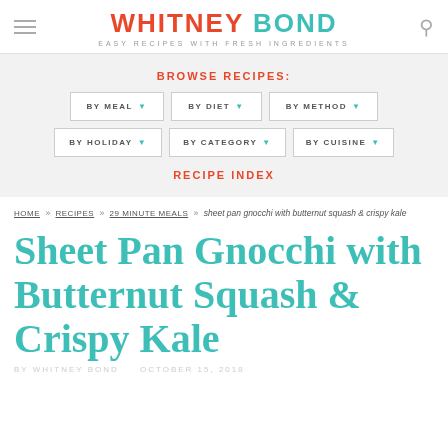WHITNEY BOND — EASY RECIPES WITH FRESH INGREDIENTS
BROWSE RECIPES:
BY MEAL ▾
BY DIET ▾
BY METHOD ▾
BY HOLIDAY ▾
BY CATEGORY ▾
BY CUISINE ▾
RECIPE INDEX
HOME » RECIPES » 29 MINUTE MEALS » sheet pan gnocchi with butternut squash & crispy kale
Sheet Pan Gnocchi with Butternut Squash & Crispy Kale
BY WHITNEY BOND · OCTOBER 15, 2018